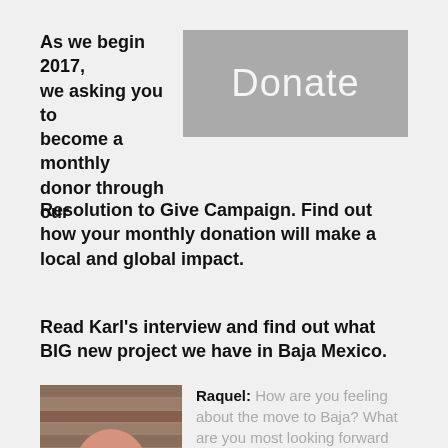As we begin 2017, we asking you to become a monthly donor through our Resolution to Give Campaign. Find out how your monthly donation will make a local and global impact.
[Figure (other): Gray donate button with large white text reading 'Donate']
Read Karl’s interview and find out what BIG new project we have in Baja Mexico.
[Figure (photo): Photo of a bald man smiling, wearing a black shirt, with a wood-plank background]
Raquel: How are you feeling about the move to Baja? What are you most looking forward to?